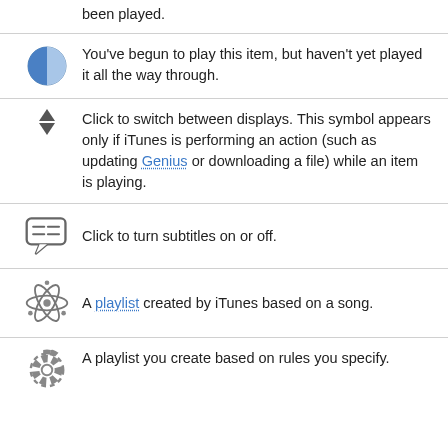been played.
You've begun to play this item, but haven't yet played it all the way through.
Click to switch between displays. This symbol appears only if iTunes is performing an action (such as updating Genius or downloading a file) while an item is playing.
Click to turn subtitles on or off.
A playlist created by iTunes based on a song.
A playlist you create based on rules you specify.